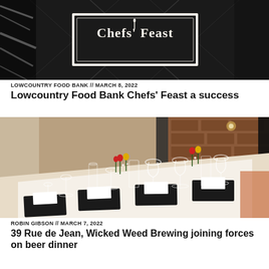[Figure (photo): Chefs' Feast sign/banner with a diamond pattern background in black and white]
LOWCOUNTRY FOOD BANK // MARCH 8, 2022
Lowcountry Food Bank Chefs' Feast a success
[Figure (photo): Elegantly set long dining table with wine glasses, colorful flower arrangements, white linens and black place mats in a restaurant with brick walls]
ROBIN GIBSON // MARCH 7, 2022
39 Rue de Jean, Wicked Weed Brewing joining forces on beer dinner